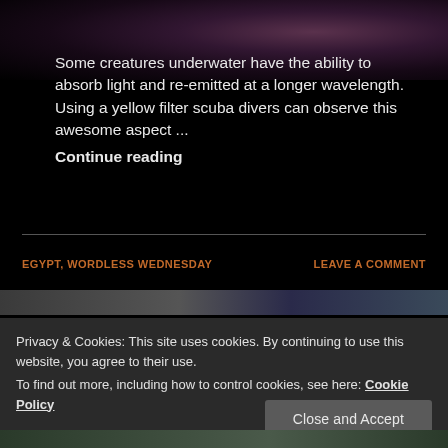[Figure (photo): Dark underwater coral/anemone photo at top of page]
Some creatures underwater have the ability to absorb light and re-emitted at a longer wavelength. Using a yellow filter scuba divers can observe this awesome aspect ...
Continue reading
EGYPT, WORDLESS WEDNESDAY
LEAVE A COMMENT
[Figure (photo): Partial underwater photo strip]
Privacy & Cookies: This site uses cookies. By continuing to use this website, you agree to their use.
To find out more, including how to control cookies, see here: Cookie Policy
Close and Accept
[Figure (photo): Underwater photo at bottom of page]